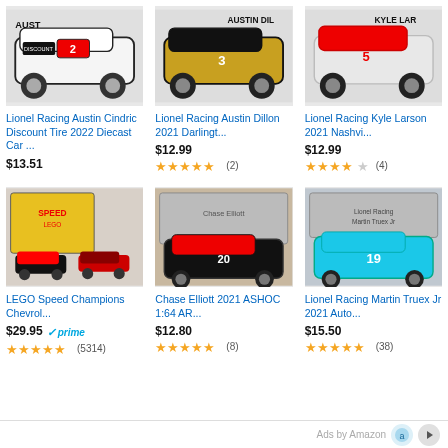[Figure (screenshot): Amazon product listing grid showing 6 NASCAR/racing diecast car products with prices, star ratings, and review counts. Top row: Lionel Racing Austin Cindric ($13.51), Lionel Racing Austin Dillon ($12.99, 5 stars, 2 reviews), Lionel Racing Kyle Larson ($12.99, 4.5 stars, 4 reviews). Bottom row: LEGO Speed Champions Chevrol... ($29.95 Prime, 5 stars, 5314 reviews), Chase Elliott 2021 ASHOC 1:64 AR... ($12.80, 5 stars, 8 reviews), Lionel Racing Martin Truex Jr 2021 Auto... ($15.50, 5 stars, 38 reviews). Footer: Ads by Amazon navigation.]